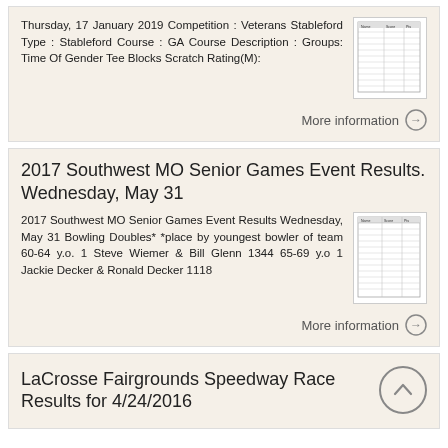Thursday, 17 January 2019 Competition : Veterans Stableford Type : Stableford Course : GA Course Description : Groups: Time Of Gender Tee Blocks Scratch Rating(M):
[Figure (table-as-image): Thumbnail of a results table document]
More information →
2017 Southwest MO Senior Games Event Results. Wednesday, May 31
2017 Southwest MO Senior Games Event Results Wednesday, May 31 Bowling Doubles* *place by youngest bowler of team 60-64 y.o. 1 Steve Wiemer & Bill Glenn 1344 65-69 y.o 1 Jackie Decker & Ronald Decker 1118
[Figure (table-as-image): Thumbnail of a results table document]
More information →
LaCrosse Fairgrounds Speedway Race Results for 4/24/2016